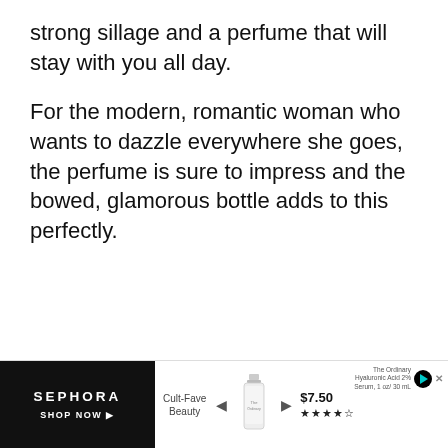strong sillage and a perfume that will stay with you all day.
For the modern, romantic woman who wants to dazzle everywhere she goes, the perfume is sure to impress and the bowed, glamorous bottle adds to this perfectly.
[Figure (other): Sephora advertisement banner with black left panel showing 'SEPHORA SHOP NOW' text, and right panel showing 'Cult-Fave Beauty' with a product bottle (The Ordinary Hyaluronic Acid serum), navigation arrows, price $7.50 and 4-star rating.]